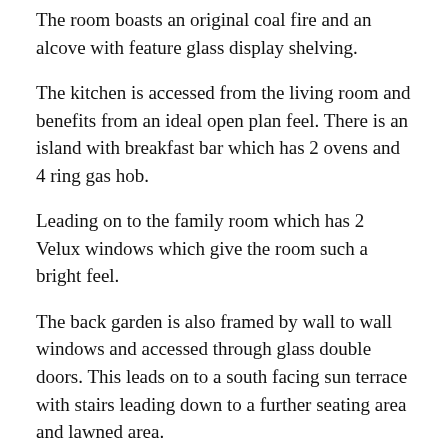The room boasts an original coal fire and an alcove with feature glass display shelving.
The kitchen is accessed from the living room and benefits from an ideal open plan feel. There is an island with breakfast bar which has 2 ovens and 4 ring gas hob.
Leading on to the family room which has 2 Velux windows which give the room such a bright feel.
The back garden is also framed by wall to wall windows and accessed through glass double doors. This leads on to a south facing sun terrace with stairs leading down to a further seating area and lawned area.
There is a well-maintained large garden shed with power source.